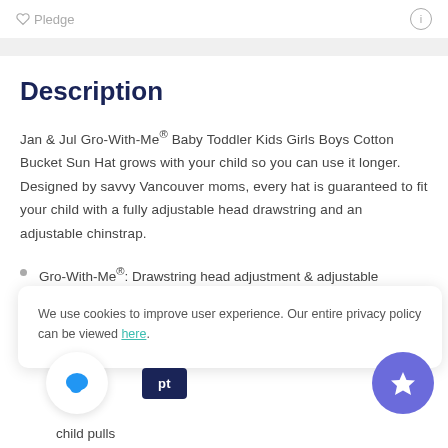♡ Pledge   ⓘ
Description
Jan & Jul Gro-With-Me® Baby Toddler Kids Girls Boys Cotton Bucket Sun Hat grows with your child so you can use it longer. Designed by savvy Vancouver moms, every hat is guaranteed to fit your child with a fully adjustable head drawstring and an adjustable chinstrap.
Gro-With-Me®: Drawstring head adjustment & adjustable chinstrap ensure perfect fit and longer use
We use cookies to improve user experience. Our entire privacy policy can be viewed here.
child pulls